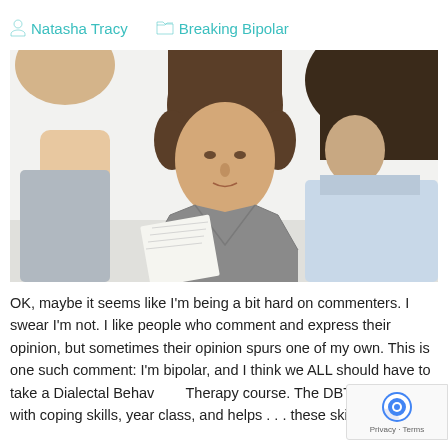Natasha Tracy   Breaking Bipolar
[Figure (photo): Three people in a discussion/meeting setting. A man in a grey sweater with white collar shirt is in the center, looking engaged in conversation. A person in a light blue top is on the right, and a partial view of a person is on the left.]
OK, maybe it seems like I'm being a bit hard on commenters. I swear I'm not. I like people who comment and express their opinion, but sometimes their opinion spurs one of my own. This is one such comment: I'm bipolar, and I think we ALL should have to take a Dialectal Behavioral Therapy course. The DBT course helps with coping skills, year class, and helps . . . these skills